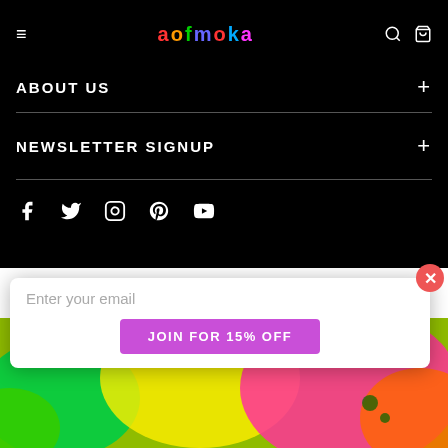aofmoka
ABOUT US
NEWSLETTER SIGNUP
[Figure (illustration): Social media icons: Facebook, Twitter, Instagram, Pinterest, YouTube]
© Aofmoka 2020. All Rights Reserved
[Figure (illustration): Payment method badges: Amex, Apple Pay, Diners, Discover, Elo, JCB, Mastercard, PayPal, ShoPay, Venmo, Visa]
[Figure (screenshot): Email signup popup with 'Enter your email' input and 'JOIN FOR 15% OFF' button over colorful background]